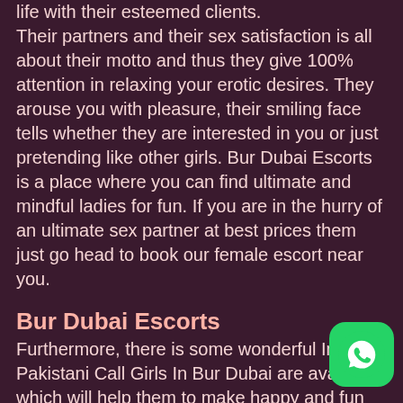life with their esteemed clients. Their partners and their sex satisfaction is all about their motto and thus they give 100% attention in relaxing your erotic desires. They arouse you with pleasure, their smiling face tells whether they are interested in you or just pretending like other girls. Bur Dubai Escorts is a place where you can find ultimate and mindful ladies for fun. If you are in the hurry of an ultimate sex partner at best prices them just go head to book our female escort near you.
Bur Dubai Escorts
Furthermore, there is some wonderful Indian Pakistani Call Girls In Bur Dubai are available which will help them to make happy and fun forever. So, you need to choose the suitable partners according to your need and preference. Also, they will come and get plenty of services in order to attain the best escort's services to undertake with safe and secure manner. In fact, most of the customers are eagerly looking for their best quality Bur Dubai escort girls to choose and get variety of services to use forever. In addition, it to render for best and cheap Bur Dubai Escorts t undertaken and make you to ask for the excellent
[Figure (logo): WhatsApp button icon (green rounded square with white phone/chat icon)]